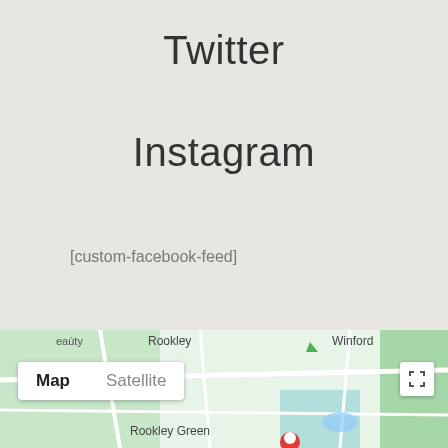Twitter
Instagram
[custom-facebook-feed]
[instagram-feed]
[Figure (map): Google Maps embed showing Rookley, Rookley Green, Winford area in Isle of Wight. Map/Satellite toggle buttons visible at bottom left, fullscreen icon at bottom right.]